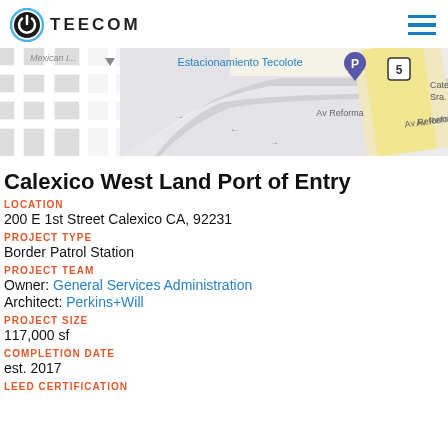TEECOM
[Figure (map): Google Maps view showing Calexico area near the US-Mexico border, with labels for Estacionamiento Tecolote, Av Reforma, and highway 5]
Calexico West Land Port of Entry
LOCATION
200 E 1st Street Calexico CA, 92231
PROJECT TYPE
Border Patrol Station
PROJECT TEAM
Owner: General Services Administration
Architect: Perkins+Will
PROJECT SIZE
117,000 sf
COMPLETION DATE
est. 2017
LEED CERTIFICATION